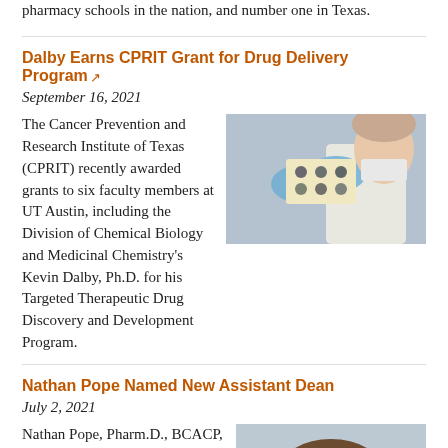pharmacy schools in the nation, and number one in Texas.
Dalby Earns CPRIT Grant for Drug Delivery Program
September 16, 2021
[Figure (photo): Researcher in gloves and mask holding laboratory plate with samples]
The Cancer Prevention and Research Institute of Texas (CPRIT) recently awarded grants to six faculty members at UT Austin, including the Division of Chemical Biology and Medicinal Chemistry's Kevin Dalby, Ph.D. for his Targeted Therapeutic Drug Discovery and Development Program.
Nathan Pope Named New Assistant Dean
July 2, 2021
[Figure (photo): Portrait of Nathan Pope, a man smiling in professional attire]
Nathan Pope, Pharm.D., BCACP, FACA has been named The University of